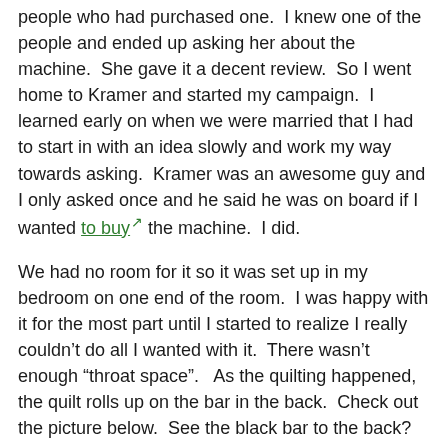people who had purchased one.  I knew one of the people and ended up asking her about the machine.  She gave it a decent review.  So I went home to Kramer and started my campaign.  I learned early on when we were married that I had to start in with an idea slowly and work my way towards asking.  Kramer was an awesome guy and I only asked once and he said he was on board if I wanted to buy the machine.  I did.
We had no room for it so it was set up in my bedroom on one end of the room.  I was happy with it for the most part until I started to realize I really couldn't do all I wanted with it.  There wasn't enough "throat space".   As the quilting happened, the quilt rolls up on the bar in the back.  Check out the picture below.  See the black bar to the back?  Well that grows and grows as the quilt rolls.  It takes up more and more space.  By the time I would get to a big quilt that was 90″ long, I'd only have about 6 inches of space to sew my design into.  Most designs take much more room than that.